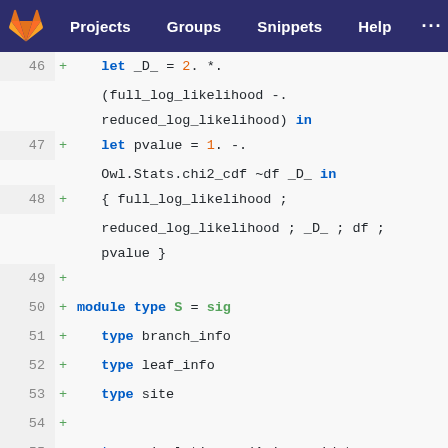Projects  Groups  Snippets  Help
[Figure (screenshot): GitLab diff view showing OCaml code lines 46-59 with added lines (green +) including let _D_ = 2. *. (full_log_likelihood -. reduced_log_likelihood) in, let pvalue = 1. -. Owl.Stats.chi2_cdf ~df _D_ in, record literal with full_log_likelihood; reduced_log_likelihood; _D_; df; pvalue, module type S = sig, type branch_info, type leaf_info, type site, type simulation = (Amino_acid.t, Amino_acid.t, branch_info) Tree.t, module Model1 : sig, type param = float]